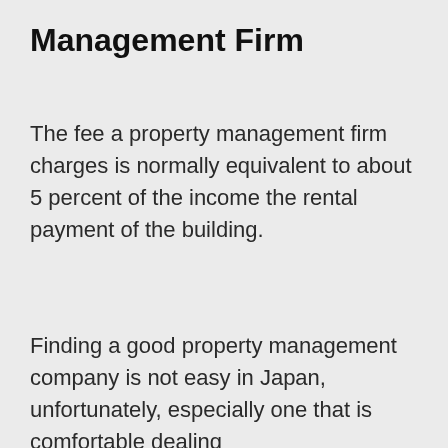Management Firm
The fee a property management firm charges is normally equivalent to about 5 percent of the income the rental payment of the building.
Finding a good property management company is not easy in Japan, unfortunately, especially one that is comfortable dealing